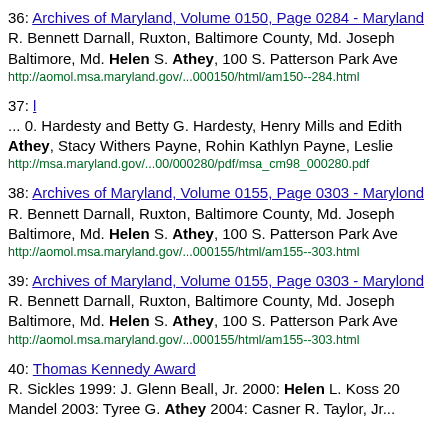36: Archives of Maryland, Volume 0150, Page 0284 - Maryland... R. Bennett Darnall, Ruxton, Baltimore County, Md. Joseph Baltimore, Md. Helen S. Athey, 100 S. Patterson Park Ave http://aomol.msa.maryland.gov/...000150/html/am150--284.html
37: l ... 0. Hardesty and Betty G. Hardesty, Henry Mills and Edith Athey, Stacy Withers Payne, Rohin Kathlyn Payne, Leslie http://msa.maryland.gov/...00/000280/pdf/msa_cm98_000280.pdf
38: Archives of Maryland, Volume 0155, Page 0303 - Maryland... R. Bennett Darnall, Ruxton, Baltimore County, Md. Joseph Baltimore, Md. Helen S. Athey, 100 S. Patterson Park Ave http://aomol.msa.maryland.gov/...000155/html/am155--303.html
39: Archives of Maryland, Volume 0155, Page 0303 - Maryland... R. Bennett Darnall, Ruxton, Baltimore County, Md. Joseph Baltimore, Md. Helen S. Athey, 100 S. Patterson Park Ave http://aomol.msa.maryland.gov/...000155/html/am155--303.html
40: Thomas Kennedy Award R. Sickles 1999: J. Glenn Beall, Jr. 2000: Helen L. Koss 20 Mandel 2003: Tyree G. Athey 2004: Casner R. Taylor, Jr...